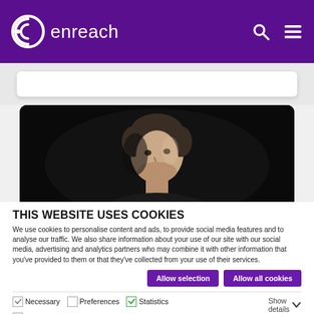enreach
[Figure (screenshot): White search bar on light grey background]
[Figure (photo): Close-up photo of a man's face against a dark/black background]
THIS WEBSITE USES COOKIES
We use cookies to personalise content and ads, to provide social media features and to analyse our traffic. We also share information about your use of our site with our social media, advertising and analytics partners who may combine it with other information that you've provided to them or that they've collected from your use of their services.
Allow selection | Allow all cookies
Necessary  Preferences  Statistics  Marketing  Show details